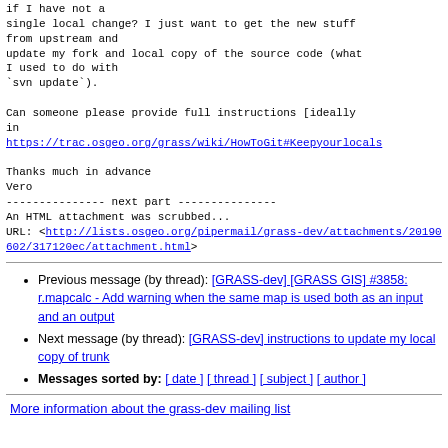if I have not a single local change? I just want to get the new stuff from upstream and update my fork and local copy of the source code (what I used to do with `svn update`).

Can someone please provide full instructions [ideally in
https://trac.osgeo.org/grass/wiki/HowToGit#Keepyourlocals

Thanks much in advance
Vero
--------------- next part ---------------
An HTML attachment was scrubbed...
URL: <http://lists.osgeo.org/pipermail/grass-dev/attachments/20190602/317120ec/attachment.html>
Previous message (by thread): [GRASS-dev] [GRASS GIS] #3858: r.mapcalc - Add warning when the same map is used both as an input and an output
Next message (by thread): [GRASS-dev] instructions to update my local copy of trunk
Messages sorted by: [ date ] [ thread ] [ subject ] [ author ]
More information about the grass-dev mailing list